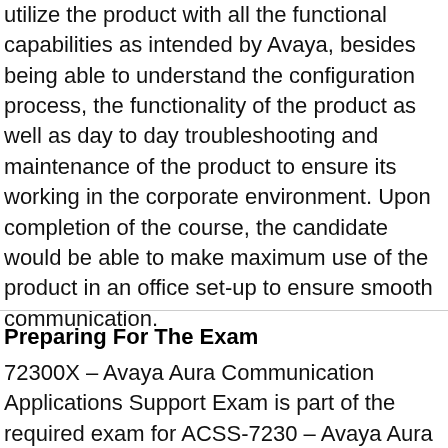utilize the product with all the functional capabilities as intended by Avaya, besides being able to understand the configuration process, the functionality of the product as well as day to day troubleshooting and maintenance of the product to ensure its working in the corporate environment. Upon completion of the course, the candidate would be able to make maximum use of the product in an office set-up to ensure smooth communication.
Preparing For The Exam
72300X – Avaya Aura Communication Applications Support Exam is part of the required exam for ACSS-7230 – Avaya Aura Communication Applications credentials. 72300X – Avaya Aura Communication